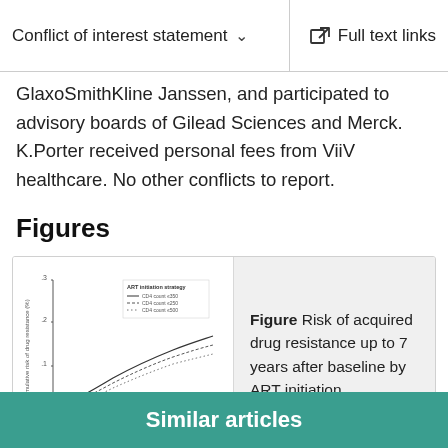Conflict of interest statement  ∨    Full text links
GlaxoSmithKline Janssen, and participated to advisory boards of Gilead Sciences and Merck. K.Porter received personal fees from ViiV healthcare. No other conflicts to report.
Figures
[Figure (continuous-plot): Line graph showing risk of acquired drug resistance up to 7 years after baseline by ART initiation strategy, with multiple curves for different CD4 count thresholds (250, 350, 500). Y-axis: cumulative risk of drug resistance (%). X-axis: time in years from baseline.]
Figure Risk of acquired drug resistance up to 7 years after baseline by ART initiation…
Similar articles